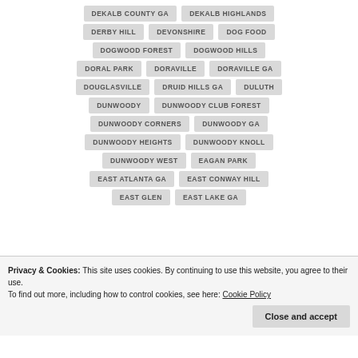DEKALB COUNTY GA
DEKALB HIGHLANDS
DERBY HILL
DEVONSHIRE
DOG FOOD
DOGWOOD FOREST
DOGWOOD HILLS
DORAL PARK
DORAVILLE
DORAVILLE GA
DOUGLASVILLE
DRUID HILLS GA
DULUTH
DUNWOODY
DUNWOODY CLUB FOREST
DUNWOODY CORNERS
DUNWOODY GA
DUNWOODY HEIGHTS
DUNWOODY KNOLL
DUNWOODY WEST
EAGAN PARK
EAST ATLANTA GA
EAST CONWAY HILL
EAST GLEN
EAST LAKE GA
Privacy & Cookies: This site uses cookies. By continuing to use this website, you agree to their use. To find out more, including how to control cookies, see here: Cookie Policy
Close and accept